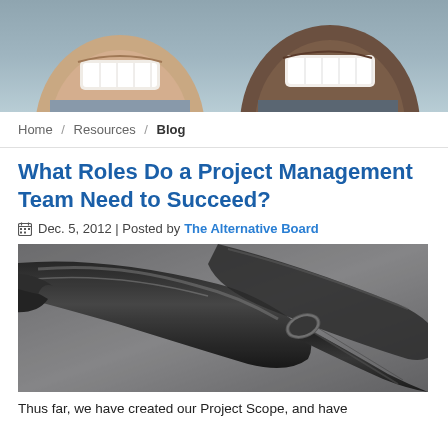[Figure (photo): Cropped photo of two smiling people, partially visible faces from below nose to chin area, gray background]
Home / Resources / Blog
What Roles Do a Project Management Team Need to Succeed?
Dec. 5, 2012 | Posted by The Alternative Board
[Figure (photo): Close-up photo of dark metallic hammers or tools against a gray background]
Thus far, we have created our Project Scope, and have